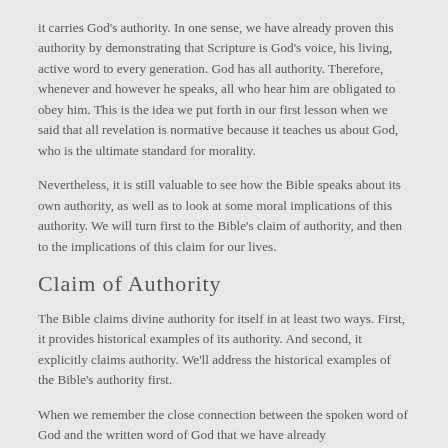it carries God's authority. In one sense, we have already proven this authority by demonstrating that Scripture is God's voice, his living, active word to every generation. God has all authority. Therefore, whenever and however he speaks, all who hear him are obligated to obey him. This is the idea we put forth in our first lesson when we said that all revelation is normative because it teaches us about God, who is the ultimate standard for morality.
Nevertheless, it is still valuable to see how the Bible speaks about its own authority, as well as to look at some moral implications of this authority. We will turn first to the Bible's claim of authority, and then to the implications of this claim for our lives.
Claim of Authority
The Bible claims divine authority for itself in at least two ways. First, it provides historical examples of its authority. And second, it explicitly claims authority. We'll address the historical examples of the Bible's authority first.
When we remember the close connection between the spoken word of God and the written word of God that we have already